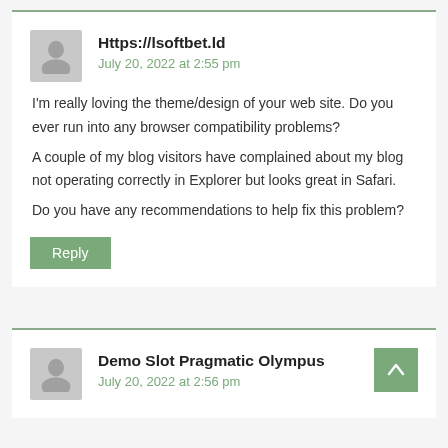Https://lsoftbet.ld
July 20, 2022 at 2:55 pm
I'm really loving the theme/design of your web site. Do you ever run into any browser compatibility problems?
A couple of my blog visitors have complained about my blog not operating correctly in Explorer but looks great in Safari.
Do you have any recommendations to help fix this problem?
Reply
Demo Slot Pragmatic Olympus
July 20, 2022 at 2:56 pm